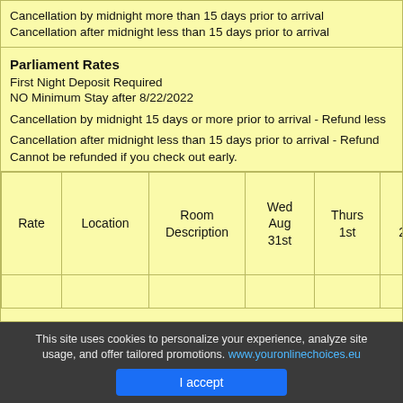Cancellation by midnight more than 15 days prior to arrival
Cancellation after midnight less than 15 days prior to arrival
Parliament Rates
First Night Deposit Required
NO Minimum Stay after 8/22/2022
Cancellation by midnight 15 days or more prior to arrival - Refund less
Cancellation after midnight less than 15 days prior to arrival - Refund
Cannot be refunded if you check out early.
| Rate | Location | Room Description | Wed Aug 31st | Thurs 1st | Fri 2nd | Sa 3r |
| --- | --- | --- | --- | --- | --- | --- |
|  |  |  |  |  |  |  |
This site uses cookies to personalize your experience, analyze site usage, and offer tailored promotions. www.youronlinechoices.eu
I accept